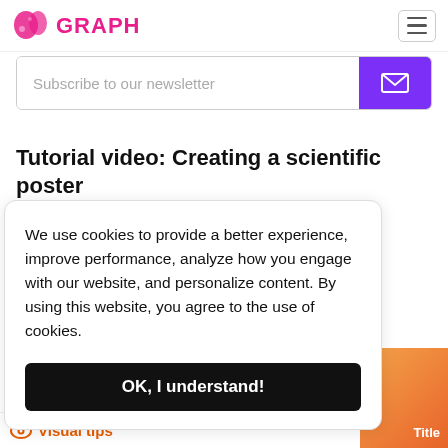GRAPH
Subscribe to our newsletter
Tutorial video: Creating a scientific poster
We use cookies to provide a better experience, improve performance, analyze how you engage with our website, and personalize content. By using this website, you agree to the use of cookies.
OK, I understand!
Visual tips